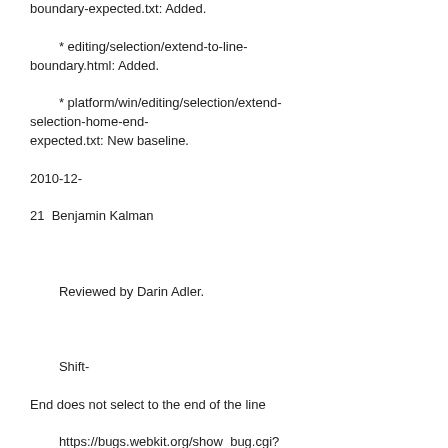boundary-expected.txt: Added.
        * editing/selection/extend-to-line-boundary.html: Added.
        * platform/win/editing/selection/extend-selection-home-end-expected.txt: New baseline.
2010-12-21  Benjamin Kalman  <kalman@chromium.org>

        Reviewed by Darin Adler.

        Shift-End does not select to the end of the line
        https://bugs.webkit.org/show_bug.cgi?id=50610

        Let the VisiblePosition affinity for end of line s visibleEnd/visibleStart rather than using end/s

        Test: editing/selection/extend-to-line-boundary.html

        * editing/SelectionController.cpp:
        (WebCore::SelectionController::positionForPl start/end.
        (WebCore::SelectionController::modifyExtend

git-svn-id: http://svn.webkit.org/repository/webkit/trunk@7 cd09-0410-ab3c-d52691b4dbfc